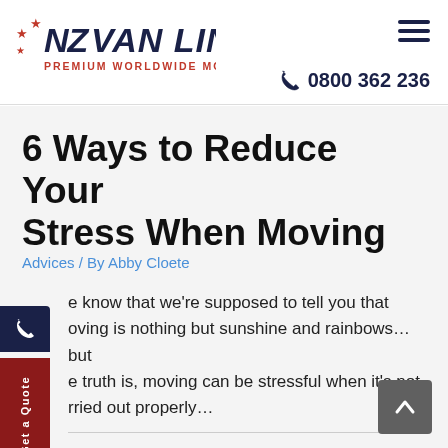[Figure (logo): NZ Van Lines logo with stars and tagline 'PREMIUM WORLDWIDE MOVERS']
0800 362 236
6 Ways to Reduce Your Stress When Moving
Advices / By Abby Cloete
e know that we're supposed to tell you that oving is nothing but sunshine and rainbows… but e truth is, moving can be stressful when it's not rried out properly…
Get a Quote